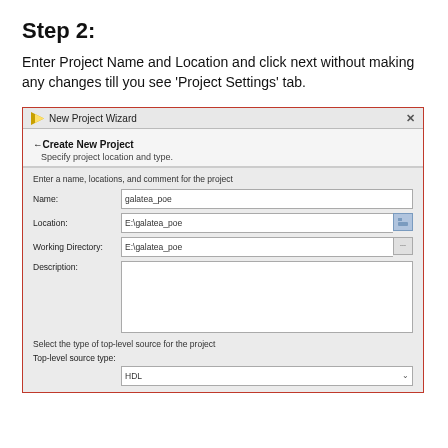Step 2:
Enter Project Name and Location and click next without making any changes till you see ‘Project Settings’ tab.
[Figure (screenshot): Screenshot of New Project Wizard dialog in an EDA/IDE tool showing fields for Name (galatea_poe), Location (E:\galatea_poe), Working Directory (E:\galatea_poe), Description (empty textarea), and a section for selecting top-level source type with HDL shown in a dropdown.]